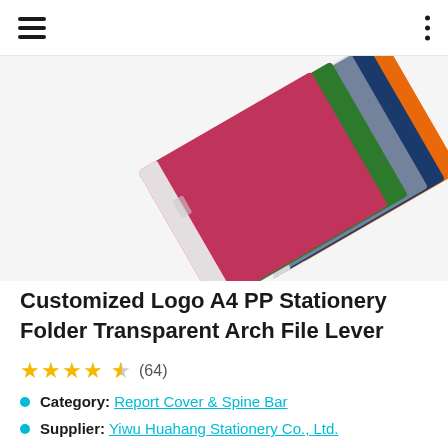Navigation bar with hamburger menu and options menu
[Figure (photo): Stack of colorful PP stationery arch file folders in orange, blue, green, and pink/red colors, arranged diagonally on white background]
Customized Logo A4 PP Stationery Folder Transparent Arch File Lever
★★★★½ (64)
Category: Report Cover & Spine Bar
Supplier: Yiwu Huahang Stationery Co., Ltd.